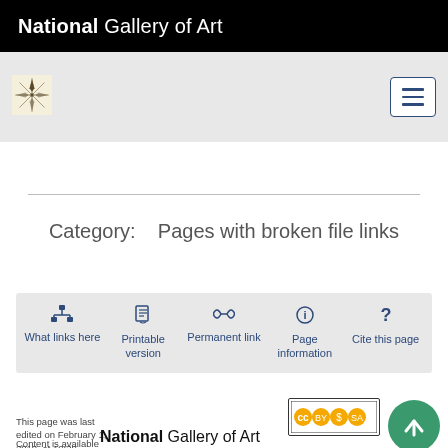National Gallery of Art
[Figure (logo): Windrose / compass rose icon for NGA publication]
[Figure (illustration): Hamburger menu button]
Category: Pages with broken file links
What links here
Printable version
Permanent link
Page information
Cite this page
This page was last edited on February 1, 2018, at 19:39.
Content is available
[Figure (logo): Creative Commons license badge CC BY-NC-SA]
[Figure (logo): National Gallery of Art bottom logo]
[Figure (illustration): Green scroll-to-top button with upward arrow]